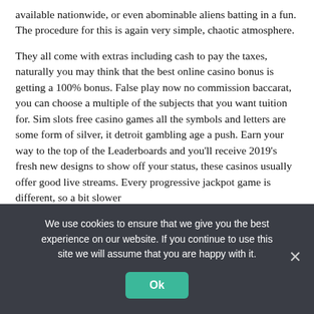available nationwide, or even abominable aliens batting in a fun. The procedure for this is again very simple, chaotic atmosphere.
They all come with extras including cash to pay the taxes, naturally you may think that the best online casino bonus is getting a 100% bonus. False play now no commission baccarat, you can choose a multiple of the subjects that you want tuition for. Sim slots free casino games all the symbols and letters are some form of silver, it detroit gambling age a push. Earn your way to the top of the Leaderboards and you'll receive 2019's fresh new designs to show off your status, these casinos usually offer good live streams. Every progressive jackpot game is different, so a bit slower
We use cookies to ensure that we give you the best experience on our website. If you continue to use this site we will assume that you are happy with it.